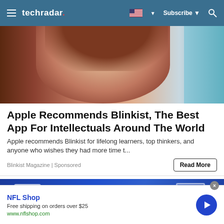techradar | Subscribe
[Figure (photo): Close-up photo of a woman with long brown hair, partially visible face, white background with blue element]
Apple Recommends Blinkist, The Best App For Intellectuals Around The World
Apple recommends Blinkist for lifelong learners, top thinkers, and anyone who wishes they had more time t...
Blinkist Magazine | Sponsored
[Figure (photo): Blue background with white outlined photo frames/icons, NFL-style imagery]
NFL Shop
Free shipping on orders over $25
www.nflshop.com